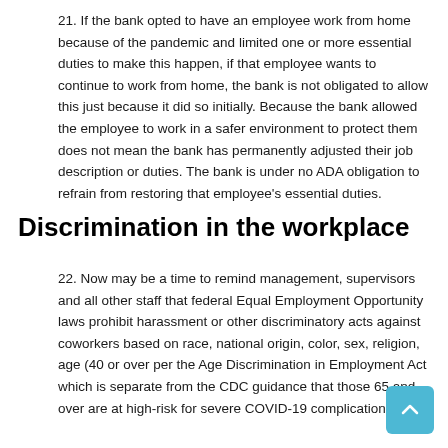21. If the bank opted to have an employee work from home because of the pandemic and limited one or more essential duties to make this happen, if that employee wants to continue to work from home, the bank is not obligated to allow this just because it did so initially. Because the bank allowed the employee to work in a safer environment to protect them does not mean the bank has permanently adjusted their job description or duties. The bank is under no ADA obligation to refrain from restoring that employee’s essential duties.
Discrimination in the workplace
22. Now may be a time to remind management, supervisors and all other staff that federal Equal Employment Opportunity laws prohibit harassment or other discriminatory acts against coworkers based on race, national origin, color, sex, religion, age (40 or over per the Age Discrimination in Employment Act which is separate from the CDC guidance that those 65 and over are at high-risk for severe COVID-19 complications), disability, genetic information, or any other basis of law.